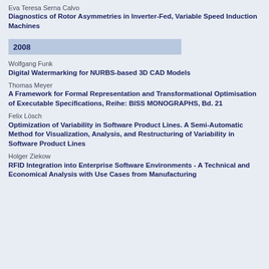Eva Teresa Serna Calvo
Diagnostics of Rotor Asymmetries in Inverter-Fed, Variable Speed Induction Machines
2008
Wolfgang Funk
Digital Watermarking for NURBS-based 3D CAD Models
Thomas Meyer
A Framework for Formal Representation and Transformational Optimisation of Executable Specifications, Reihe: BISS MONOGRAPHS, Bd. 21
Felix Lösch
Optimization of Variability in Software Product Lines. A Semi-Automatic Method for Visualization, Analysis, and Restructuring of Variability in Software Product Lines
Holger Ziekow
RFID Integration into Enterprise Software Environments - A Technical and Economical Analysis with Use Cases from Manufacturing